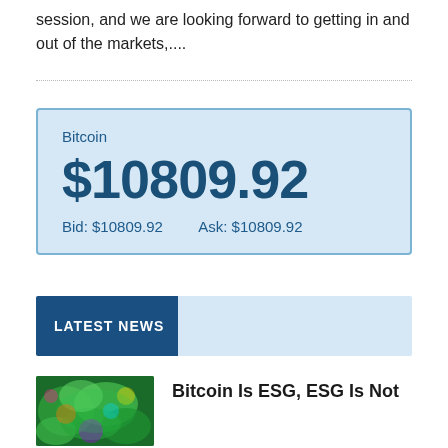session, and we are looking forward to getting in and out of the markets,....
| Bitcoin | Price | Bid | Ask |
| --- | --- | --- | --- |
| Bitcoin | $10809.92 | Bid: $10809.92 | Ask: $10809.92 |
LATEST NEWS
[Figure (photo): Colorful abstract/nature image with green, blue, and warm tones]
Bitcoin Is ESG, ESG Is Not